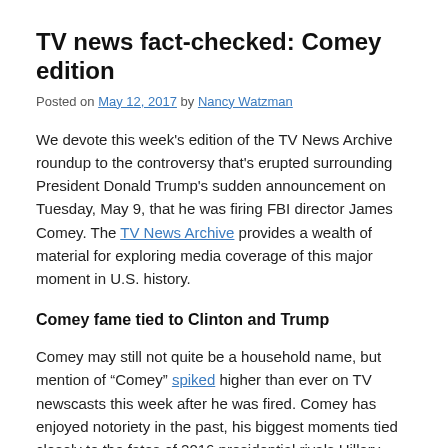TV news fact-checked: Comey edition
Posted on May 12, 2017 by Nancy Watzman
We devote this week’s edition of the TV News Archive roundup to the controversy that's erupted surrounding President Donald Trump’s sudden announcement on Tuesday, May 9, that he was firing FBI director James Comey. The TV News Archive provides a wealth of material for exploring media coverage of this major moment in U.S. history.
Comey fame tied to Clinton and Trump
Comey may still not quite be a household name, but mention of “Comey” spiked higher than ever on TV newscasts this week after he was fired. Comey has enjoyed notoriety in the past, his biggest moments tied closely to the fates of 2016 presidential rivals Hillary Clinton and Trump.